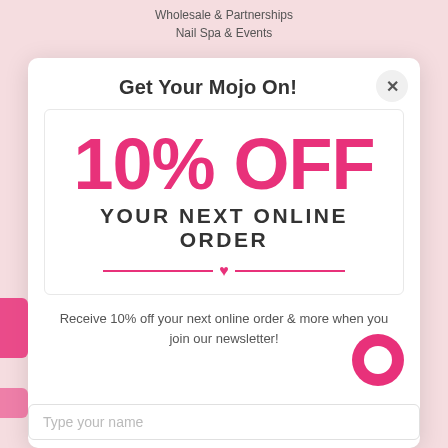Wholesale & Partnerships
Nail Spa & Events
Get Your Mojo On!
[Figure (infographic): Promotional banner showing '10% OFF YOUR NEXT ONLINE ORDER' in large pink bold text with a pink heart divider line]
Receive 10% off your next online order & more when you join our newsletter!
Type your name